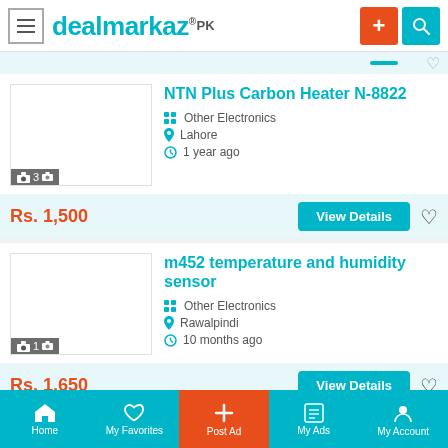dealmarkaz.PK
NTN Plus Carbon Heater N-8822
Other Electronics | Lahore | 1 year ago
Rs. 1,500
m452 temperature and humidity sensor
Other Electronics | Rawalpindi | 10 months ago
Rs. 1,650
Home | My Favorites | Post Ad | My Ads | My Account